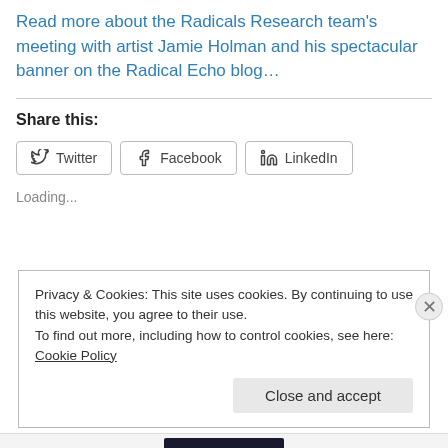Read more about the Radicals Research team's meeting with artist Jamie Holman and his spectacular banner on the Radical Echo blog…
Share this:
Twitter
Facebook
LinkedIn
Loading...
Privacy & Cookies: This site uses cookies. By continuing to use this website, you agree to their use.
To find out more, including how to control cookies, see here: Cookie Policy